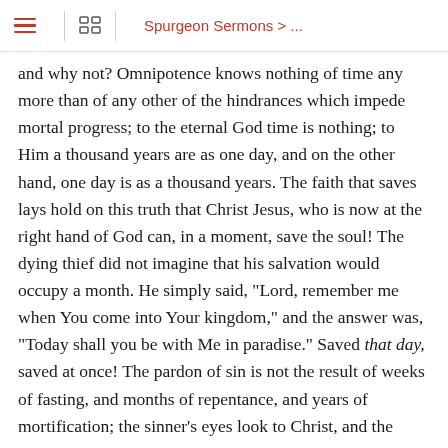Spurgeon Sermons > ...
and why not? Omnipotence knows nothing of time any more than of any other of the hindrances which impede mortal progress; to the eternal God time is nothing; to Him a thousand years are as one day, and on the other hand, one day is as a thousand years. The faith that saves lays hold on this truth that Christ Jesus, who is now at the right hand of God can, in a moment, save the soul! The dying thief did not imagine that his salvation would occupy a month. He simply said, "Lord, remember me when You come into Your kingdom," and the answer was, "Today shall you be with Me in paradise." Saved that day, saved at once! The pardon of sin is not the result of weeks of fasting, and months of repentance, and years of mortification; the sinner's eyes look to Christ, and the sinner's sins are gone at once—